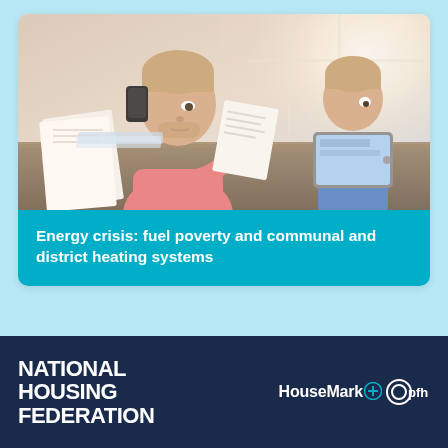[Figure (photo): A man in a pink shirt talking on a phone while looking at papers, with a young child in a blue shirt using a tablet in the background, sitting at a table near a bright window.]
Energy crisis: fuel poverty and communal and district heating systems
[Figure (logo): National Housing Federation logo in white bold uppercase text on navy background]
[Figure (logo): HouseMark and pfh logos in white on navy background]